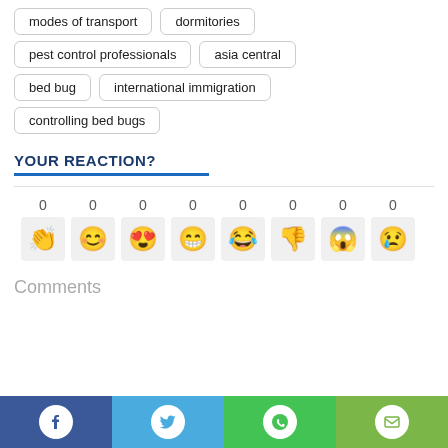modes of transport
dormitories
pest control professionals
asia central
bed bug
international immigration
controlling bed bugs
YOUR REACTION?
[Figure (infographic): Eight emoji reaction buttons each with count 0: clapping hands, smiling face, heart eyes, big grin, laughing, thumbs down, screaming, sad face]
Comments
[Figure (infographic): Social share bar with Facebook, Twitter, WhatsApp, and Email buttons]